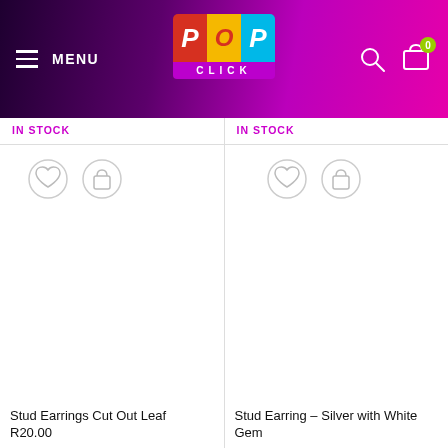MENU — POP CLICK logo — search icon — cart icon (0)
IN STOCK
IN STOCK
Stud Earrings Cut Out Leaf
R20.00
Stud Earring – Silver with White Gem